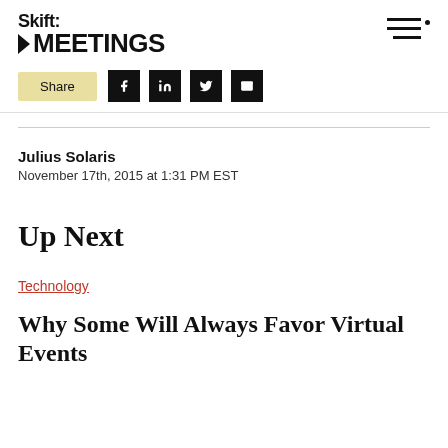Skift MEETINGS
Share
Julius Solaris
November 17th, 2015 at 1:31 PM EST
Up Next
Technology
Why Some Will Always Favor Virtual Events